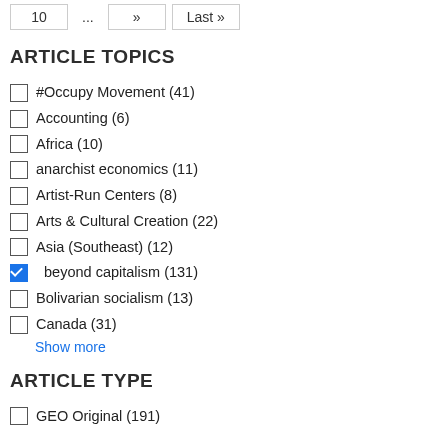10  ...  »  Last »
ARTICLE TOPICS
#Occupy Movement (41)
Accounting (6)
Africa (10)
anarchist economics (11)
Artist-Run Centers (8)
Arts & Cultural Creation (22)
Asia (Southeast) (12)
beyond capitalism (131)
Bolivarian socialism (13)
Canada (31)
Show more
ARTICLE TYPE
GEO Original (191)